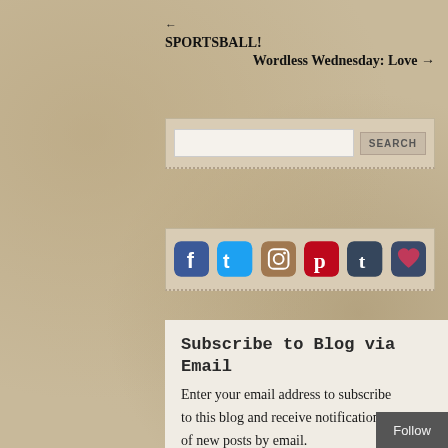← SPORTSBALL!
Wordless Wednesday: Love →
[Figure (screenshot): Search input box with SEARCH button]
[Figure (infographic): Row of 6 social media icons: Facebook, Twitter, Instagram, Pinterest, Tumblr, heart/favorites]
Subscribe to Blog via Email
Enter your email address to subscribe to this blog and receive notifications of new posts by email.